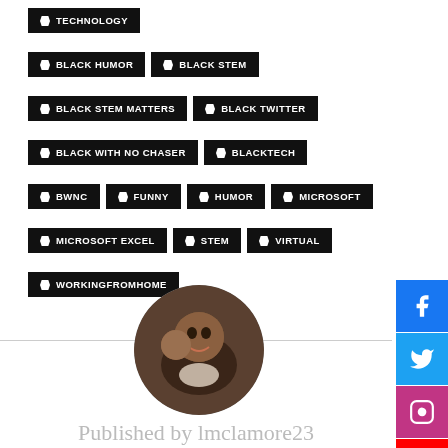TECHNOLOGY
BLACK HUMOR
BLACK STEM
BLACK STEM MATTERS
BLACK TWITTER
BLACK WITH NO CHASER
BLACKTECH
BWNC
FUNNY
HUMOR
MICROSOFT
MICROSOFT EXCEL
STEM
VIRTUAL
WORKINGFROMHOME
[Figure (photo): Circular author profile photo showing a Black man with a beard smiling, holding a young child]
Published by lmclamore23